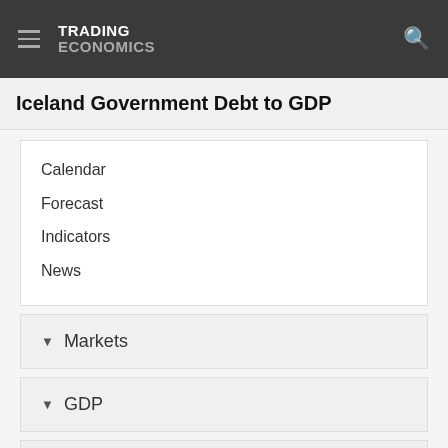TRADING ECONOMICS
Iceland Government Debt to GDP
Calendar
Forecast
Indicators
News
Markets
GDP
Labour
Prices
Health